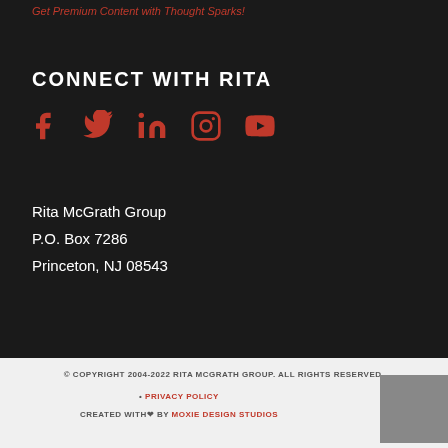Get Premium Content with Thought Sparks!
CONNECT WITH RITA
[Figure (infographic): Social media icons for Facebook, Twitter, LinkedIn, Instagram, YouTube in red color]
Rita McGrath Group
P.O. Box 7286
Princeton, NJ 08543
© COPYRIGHT 2004-2022 RITA MCGRATH GROUP. ALL RIGHTS RESERVED. • PRIVACY POLICY CREATED WITH ♥ BY MOXIE DESIGN STUDIOS